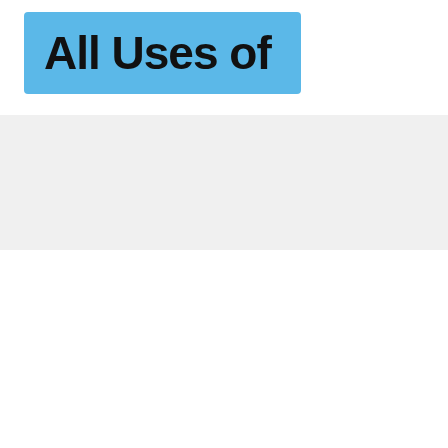All Uses of
Blog
Home > Home Use > 10 uses of lemon peel